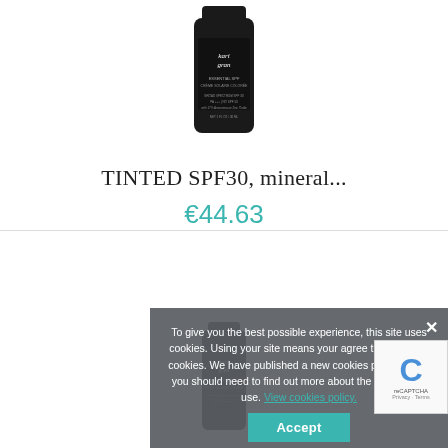[Figure (photo): Dark bottle of kari gran ESSENTIAL SPF sunscreen product, top portion visible]
TINTED SPF30, mineral...
€44.63
[Figure (photo): Partial view of kari gran ESSENTIAL SPF dark bottle in lower section of page]
To give you the best possible experience, this site uses cookies. Using your site means your agree to our use of cookies. We have published a new cookies policy, which you should need to find out more about the cookies we use. View cookies policy.
Accept